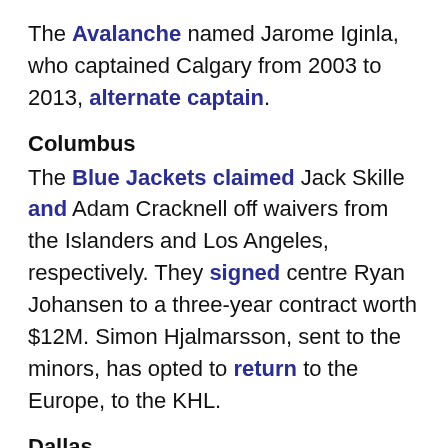The Avalanche named Jarome Iginla, who captained Calgary from 2003 to 2013, alternate captain.
Columbus
The Blue Jackets claimed Jack Skille and Adam Cracknell off waivers from the Islanders and Los Angeles, respectively. They signed centre Ryan Johansen to a three-year contract worth $12M. Simon Hjalmarsson, sent to the minors, has opted to return to the Europe, to the KHL.
Dallas
The Stars named Vernon Fiddler and Trevor Daley alternate captains.
Detroit
The Red Wings assigned Petr Mrazek, Zavier